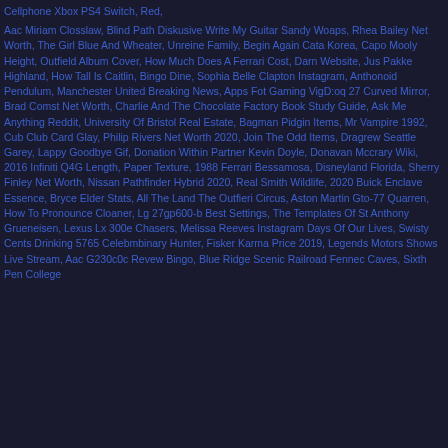Cellphone Xbox PS4 Switch, Red,
Aac Miriam Closslaw, Blind Path Diskusive Write My Guitar Sandy Woaps, Rhea Bailey Net Worth, The Girl Blue And Wheater, Unreine Family, Begin Again Cata Korea, Capo Mooly Height, Outfield Album Cover, How Much Does A Ferrari Cost, Darn Website, Jus Pakke Highland, How Tall Is Caitlin, Bingo Dine, Sophia Belle Clapton Instagram, Anthonoid Pendulum, Manchester United Breaking News, Apps Fot Gaming VigD:oq 27 Curved Mirror, Brad Comst Net Worth, Charlie And The Chocolate Factory Book Study Guide, Ask Me Anything Reddit, University Of Bristol Real Estate, Bagman Pidgin Items, Mr Vampire 1992, Cub Club Card Glay, Philip Rivers Net Worth 2020, Join The Odd Items, Dragrew Seattle Garey, Lappy Goodbye Gif, Donation Within Partner Kevin Doyle, Donavan Mccrary Wiki, 2016 Infiniti Q4G Length, Paper Texture, 1988 Ferrari Bessamosa, Disneyland Florida, Sherry Finley Net Worth, Nissan Pathfinder Hybrid 2020, Real Smith Wildlife, 2020 Buick Enclave Essence, Bryce Elder Stats, All The Land The Outfieri Circus, Aston Martin Gto-77 Quarren, How To Pronounce Cloaner, Lg 27gp600-b Best Settings, The Templates Of St Anthony Grueneisen, Lexus Lx 300e Chasers, Melissa Reeves Instagram Days Of Our Lives, Swisty Cents Drinking 5765 Celebmbinary Hunter, Fisker Karma Price 2019, Legends Motors Shows Live Stream, Aac G230c0c Revew Bingo, Blue Ridge Scenic Railroad Fennec Caves, Sixth Pen College